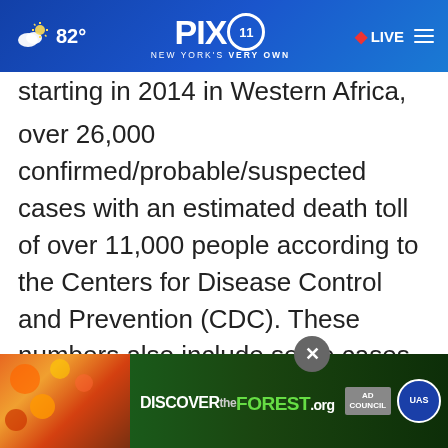PIX 11 New York's Very Own | 82° | LIVE
starting in 2014 in Western Africa, and involved over 26,000 confirmed/probable/suspected cases with an estimated death toll of over 11,000 people according to the Centers for Disease Control and Prevention (CDC). These numbers also include some cases of virus introduction and limited spread in Europe and the United States.
Transmission of filoviruses requires direct conta... perso... e
[Figure (screenshot): DISCOVERtheFOREST.org advertisement banner with ad council and US Forest Service logos, with a close (X) button overlay]